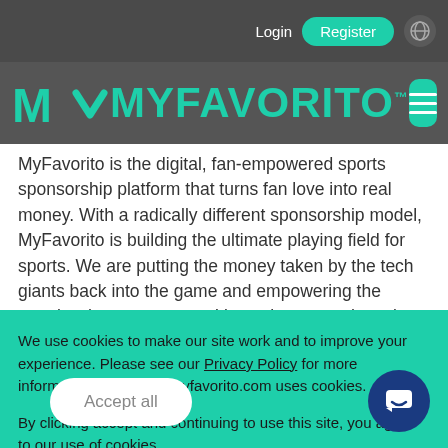Login  Register
[Figure (logo): MyFavorito logo with teal checkmark/M icon and teal text on dark grey background, with hamburger menu button]
MyFavorito is the digital, fan-empowered sports sponsorship platform that turns fan love into real money. With a radically different sponsorship model, MyFavorito is building the ultimate playing field for sports. We are putting the money taken by the tech giants back into the game and empowering the people who matter most. It's not just sport that wins, but entire communities.
We use cookies to make our site work and to improve your experience. Please see our Privacy Policy for more information about how myfavorito.com uses cookies.

By clicking accept and continuing to use this site, you agree to our use of cookies.
Accept all